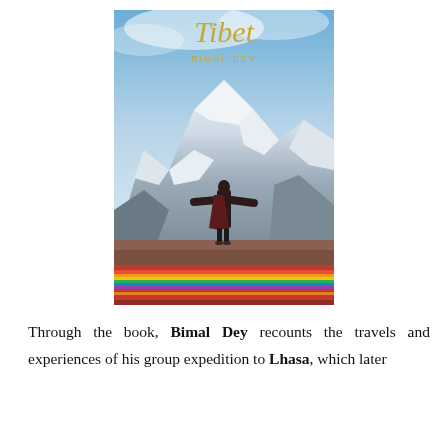[Figure (photo): Book cover of 'Tibet' by Bimal Dey. Shows a person in dark robes standing with arms outstretched facing a large snow-covered mountain (Mount Kailash). The title 'Tibet' appears in gold/yellow text at the top and 'BIMAL DEY' in gold below it. At the bottom of the cover is a colorful striped fabric or blanket in red, yellow, green, and blue.]
Through the book, Bimal Dey recounts the travels and experiences of his group expedition to Lhasa, which later